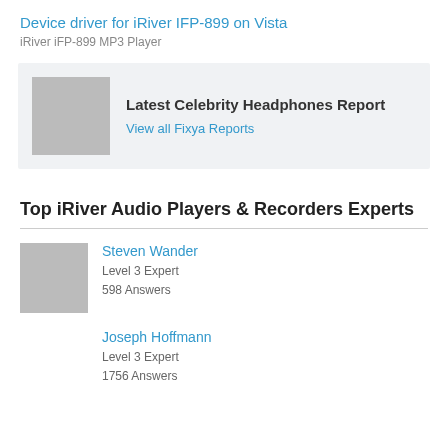Device driver for iRiver IFP-899 on Vista
iRiver iFP-899 MP3 Player
[Figure (other): Promotional banner with gray placeholder image for Latest Celebrity Headphones Report]
Latest Celebrity Headphones Report
View all Fixya Reports
Top iRiver Audio Players & Recorders Experts
Steven Wander
Level 3 Expert
598 Answers
Joseph Hoffmann
Level 3 Expert
1756 Answers